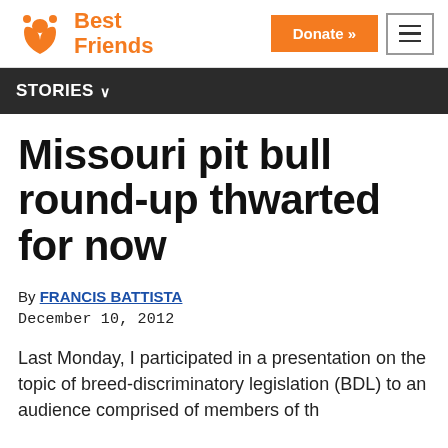Best Friends | STORIES | Donate »
Missouri pit bull round-up thwarted for now
By FRANCIS BATTISTA
December 10, 2012
Last Monday, I participated in a presentation on the topic of breed-discriminatory legislation (BDL) to an audience comprised of members of th...